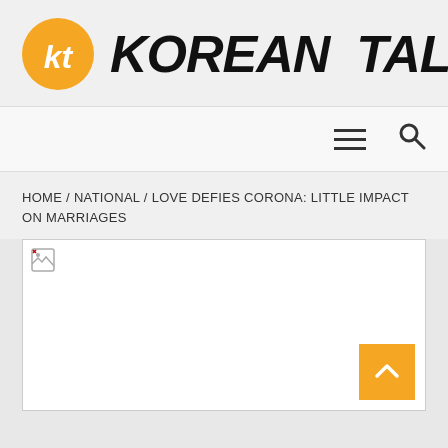[Figure (logo): Korean Talks website logo: orange circle with white 'kt' text, followed by bold italic text 'KOREAN TALKS']
Navigation bar with hamburger menu and search icon
HOME / NATIONAL / LOVE DEFIES CORONA: LITTLE IMPACT ON MARRIAGES
[Figure (photo): Article image placeholder (broken image icon shown in top-left corner) with a scroll-to-top orange button in the bottom-right corner]